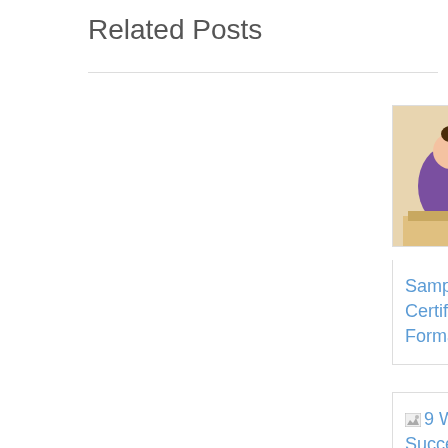Related Posts
[Figure (illustration): Employment certificate thumbnail image showing a cartoon person handing a document, with purple background and text 'EMPLOYMENT CERTIFICATE']
Sample Employment Certificate Templates, Format
[Figure (illustration): Broken image placeholder for '9 Ways to Writing Successful Resignation Acknowledgment Letter']
9 Ways to Writing Successful Resignation Acknowledgment Letter
9 Ways to Writing Successful